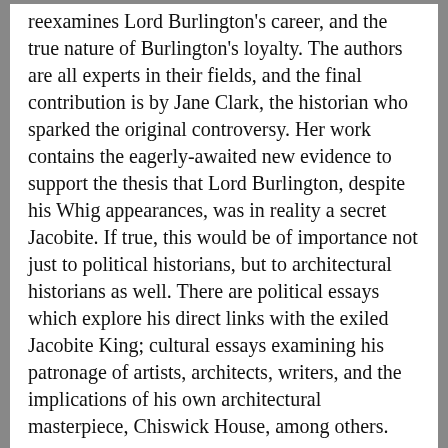reexamines Lord Burlington's career, and the true nature of Burlington's loyalty. The authors are all experts in their fields, and the final contribution is by Jane Clark, the historian who sparked the original controversy. Her work contains the eagerly-awaited new evidence to support the thesis that Lord Burlington, despite his Whig appearances, was in reality a secret Jacobite. If true, this would be of importance not just to political historians, but to architectural historians as well. There are political essays which explore his direct links with the exiled Jacobite King; cultural essays examining his patronage of artists, architects, writers, and the implications of his own architectural masterpiece, Chiswick House, among others.
Price: $199.95
Add to Cart